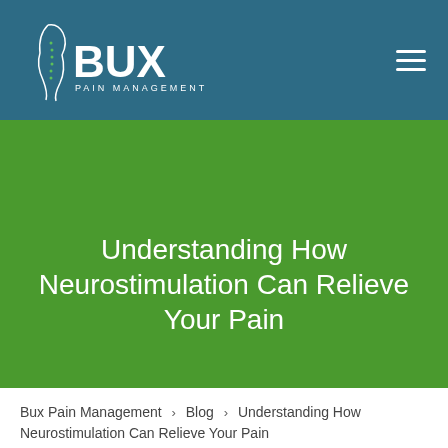[Figure (logo): Bux Pain Management logo — white silhouette of spine and torso with BUX text and PAIN MANAGEMENT tagline on teal background]
Understanding How Neurostimulation Can Relieve Your Pain
Bux Pain Management > Blog > Understanding How Neurostimulation Can Relieve Your Pain